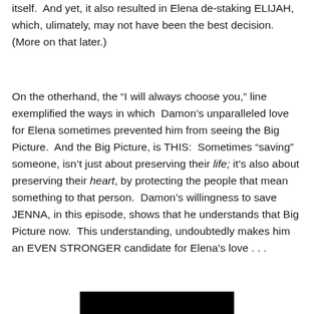itself.  And yet, it also resulted in Elena de-staking ELIJAH, which, ulimately, may not have been the best decision. (More on that later.)
On the otherhand, the “I will always choose you,” line exemplified the ways in which  Damon’s unparalleled love for Elena sometimes prevented him from seeing the Big Picture.  And the Big Picture, is THIS:  Sometimes “saving” someone, isn’t just about preserving their life; it’s also about preserving their heart, by protecting the people that mean something to that person.  Damon’s willingness to save JENNA, in this episode, shows that he understands that Big Picture now.  This understanding, undoubtedly makes him an EVEN STRONGER candidate for Elena’s love . . .
[Figure (other): Black rectangular image/banner at the bottom of the page]